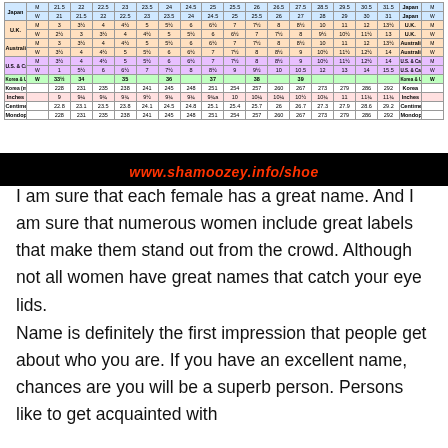| Country | G | 21.5 | 22 | 22.5 | 23 | 23.5 | 24 | 24.5 | 25 | 25.5 | 26 | 26.5 | 27.5 | 28.5 | 29.5 | 30.5 | 31.5 | Country | G |
| --- | --- | --- | --- | --- | --- | --- | --- | --- | --- | --- | --- | --- | --- | --- | --- | --- | --- | --- | --- |
| Japan | M | 21.5 | 22 | 22.5 | 23 | 23.5 | 24 | 24.5 | 25 | 25.5 | 26 | 26.5 | 27.5 | 28.5 | 29.5 | 30.5 | 31.5 | Japan | M |
| Japan | W | 21 | 21.5 | 22 | 22.5 | 23 | 23.5 | 24 | 24.5 | 25 | 25.5 | 26 | 27 | 28 | 29 | 30 | 31 | Japan | W |
| U.K. | M | 3 | 3½ | 4 | 4½ | 5 | 5½ | 6 | 6½ | 7 | 7½ | 8 | 8½ | 10 | 11 | 12 | 13½ | U.K. | M |
| U.K. | W | 2½ | 3 | 3½ | 4 | 4½ | 5 | 5½ | 6 | 6½ | 7 | 7½ | 8 | 9½ | 10½ | 11½ | 13 | U.K. | W |
| Australia | M | 3 | 3½ | 4 | 4½ | 5 | 5½ | 6 | 6½ | 7 | 7½ | 8 | 8½ | 10 | 11 | 12 | 13½ | Australia | M |
| Australia | W | 3½ | 4 | 4½ | 5 | 5½ | 6 | 6½ | 7 | 7½ | 8 | 8½ | 9 | 10½ | 11½ | 12½ | 14 | Australia | W |
| U.S. & Canada | M | 3½ | 4 | 4½ | 5 | 5½ | 6 | 6½ | 7 | 7½ | 8 | 8½ | 9 | 10½ | 11½ | 12½ | 14 | U.S. & Canada | M |
| U.S. & Canada | W | 1 | 5½ | 6 | 6½ | 7 | 7½ | 8 | 8½ | 9 | 9½ | 10 | 10.5 | 12 | 13 | 14 | 15.5 | U.S. & Canada | W |
| Korea & Ukraine | W | 33½ | 34 |  | 35 |  | 36 |  | 37 |  | 38 |  | 39 |  |  |  |  | Korea & Ukraine | W |
| Korea (mm) |  | 228 | 231 | 235 | 238 | 241 | 245 | 248 | 251 | 254 | 257 | 260 | 267 | 273 | 279 | 286 | 292 | Korea |  |
| Inches |  | 9 | 9¼ | 9¾ | 9¾ | 9½ | 9¾ | 9¾ | 9¾a | 10 | 10¼ | 10¼ | 10½ | 10¾ | 11 | 11¾ | 11¾ | Inches |  |
| Centimeters |  | 22.8 | 23.1 | 23.5 | 23.8 | 24.1 | 24.5 | 24.8 | 25.1 | 25.4 | 25.7 | 26 | 26.7 | 27.3 | 27.9 | 28.6 | 29.2 | Centimeters |  |
| Mondopoint |  | 228 | 231 | 235 | 238 | 241 | 245 | 248 | 251 | 254 | 257 | 260 | 267 | 273 | 279 | 286 | 292 | Mondopoint |  |
[Figure (other): Black banner with red italic text: www.shamoozey.info/shoe]
I am sure that each female has a great name. And I am sure that numerous women include great labels that make them stand out from the crowd. Although not all women have great names that catch your eye lids.
Name is definitely the first impression that people get about who you are. If you have an excellent name, chances are you will be a superb person. Persons like to get acquainted with